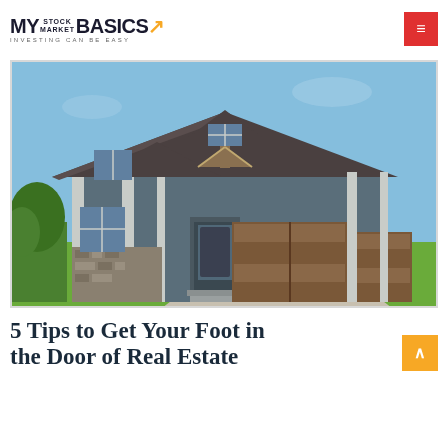MY STOCK MARKET BASICS — INVESTING CAN BE EASY
[Figure (photo): Exterior photo of a large two-story craftsman-style house with gray siding, stone accents, brown garage doors, and a green lawn under a clear blue sky]
5 Tips to Get Your Foot in the Door of Real Estate